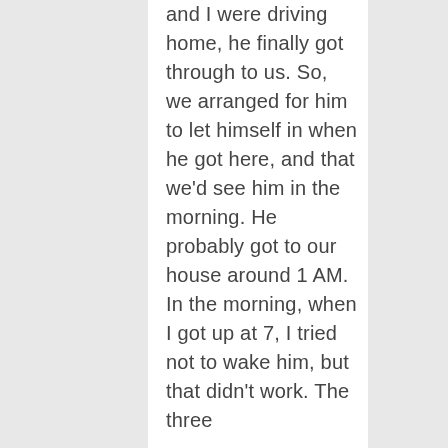and I were driving home, he finally got through to us. So, we arranged for him to let himself in when he got here, and that we'd see him in the morning. He probably got to our house around 1 AM. In the morning, when I got up at 7, I tried not to wake him, but that didn't work. The three of